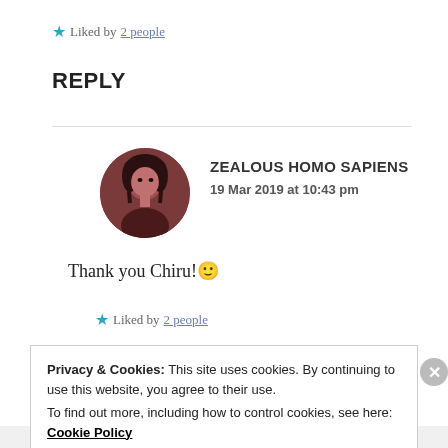★ Liked by 2 people
REPLY
[Figure (illustration): Circular avatar photo of a person with dark hair, reddish-brown tint]
ZEALOUS HOMO SAPIENS
19 Mar 2019 at 10:43 pm
Thank you Chiru! 🙂
★ Liked by 2 people
Privacy & Cookies: This site uses cookies. By continuing to use this website, you agree to their use.
To find out more, including how to control cookies, see here: Cookie Policy
Close and accept